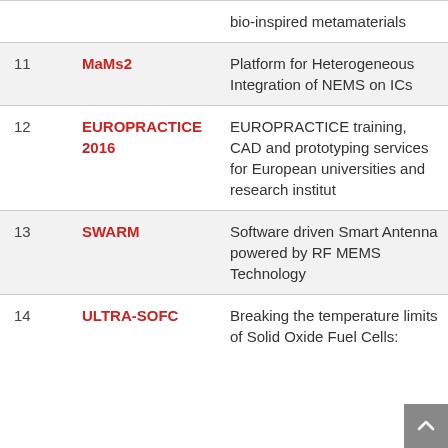| # | Name | Description | Year |
| --- | --- | --- | --- |
|  |  | bio-inspired metamaterials |  |
| 11 | MaMs2 | Platform for Heterogeneous Integration of NEMS on ICs | 2015 |
| 12 | EUROPRACTICE 2016 | EUROPRACTICE training, CAD and prototyping services for European universities and research institut | 2016 |
| 13 | SWARM | Software driven Smart Antenna powered by RF MEMS Technology | 2016 |
| 14 | ULTRA-SOFC | Breaking the temperature limits of Solid Oxide Fuel Cells: | 2016 |